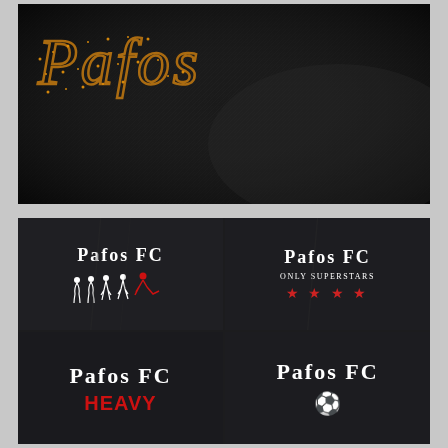[Figure (photo): Close-up photo of a black textured fabric (carbon fiber or similar pattern) with gold/orange glitter or sequin cursive text in the upper left corner, partially visible.]
[Figure (photo): Photo of four black t-shirts arranged in a 2x2 grid. Top-left shirt reads 'Pafos FC' with a white human evolution graphic ending in a red soccer player. Top-right shirt reads 'Pafos FC / Only Superstars' with four red stars. Bottom-left shirt reads 'Pafos FC / HEAVY' in red. Bottom-right shirt reads 'Pafos FC' with a soccer ball icon.]